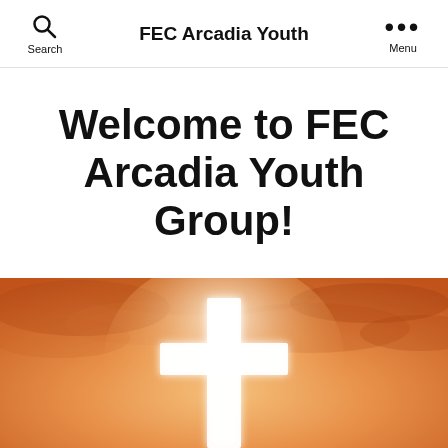FEC Arcadia Youth
Welcome to FEC Arcadia Youth Group!
[Figure (photo): A glowing white Christian cross silhouetted against a dramatic orange and golden cloudy sky background]